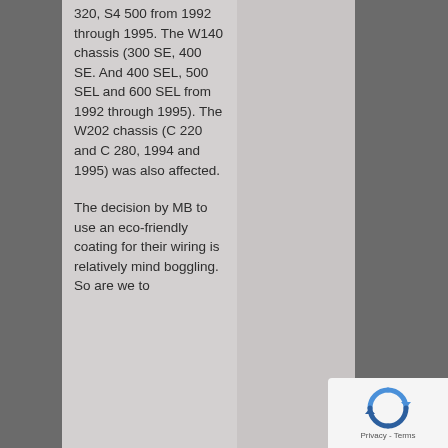320, S4 500 from 1992 through 1995. The W140 chassis (300 SE, 400 SE. And 400 SEL, 500 SEL and 600 SEL from 1992 through 1995). The W202 chassis (C 220 and C 280, 1994 and 1995) was also affected.
The decision by MB to use an eco-friendly coating for their wiring is relatively mind boggling. So are we to
[Figure (other): Google reCAPTCHA widget showing the reCAPTCHA logo (circular arrows) and Privacy - Terms text]